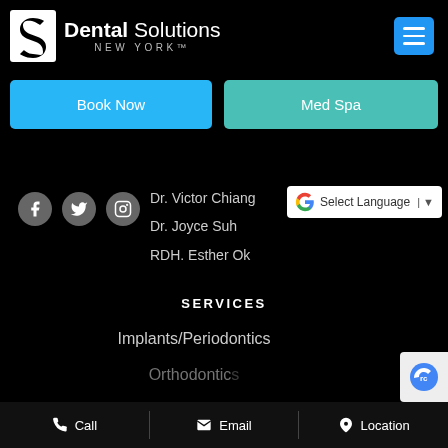[Figure (logo): Dental Solutions New York logo with stylized S icon and text]
[Figure (other): Hamburger menu button (blue background, three white lines)]
Book Now
Med Spa
[Figure (other): Facebook social media icon (circular grey button)]
[Figure (other): Twitter social media icon (circular grey button)]
[Figure (other): Instagram social media icon (circular grey button)]
Dr. Victor Chiang
Dr. Joyce Suh
RDH. Esther Ok
[Figure (other): Google Translate Select Language widget]
SERVICES
Implants/Periodontics
Orthodontics (partially visible)
[Figure (other): reCAPTCHA badge (partially visible, bottom right)]
Call   Email   Location